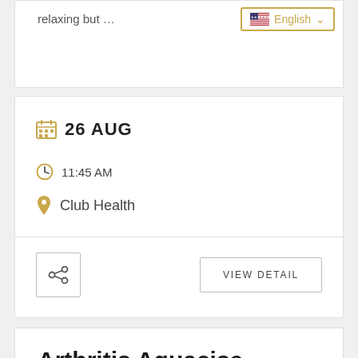relaxing but …
English
26 AUG
11:45 AM
Club Health
VIEW DETAIL
Arthritis Aquacise Indoor Pool
Join us in the indoor pool for this